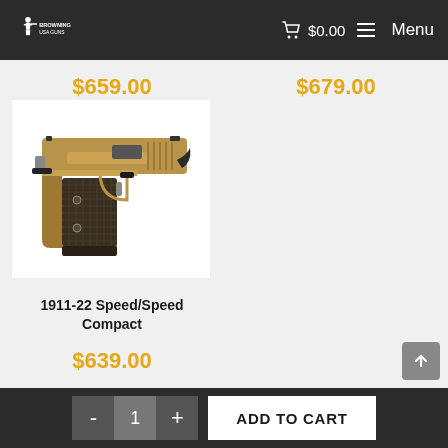Browning USA Guns — $0.00 — Menu
$659.00
[Figure (photo): Photo of a 1911-22 Speed/Speed Compact pistol in flat dark earth / tan finish with dark grip panels, shown from the left side against a white background.]
1911-22 Speed/Speed Compact
$639.00
$679.00
- 1 + ADD TO CART